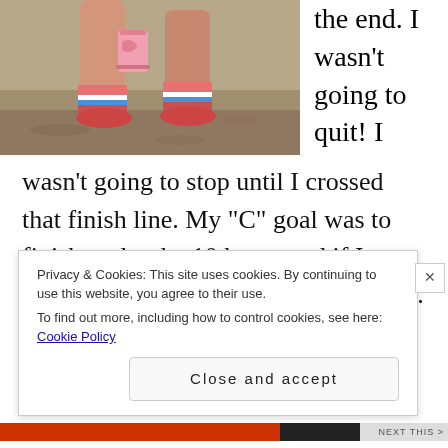[Figure (photo): Photo of a runner's legs on a dirt trail, wearing colorful compression socks and holding a pink cup, partially cut off at top]
the end. I wasn't going to quit! I
wasn't going to stop until I crossed that finish line. My “C” goal was to finish under the 10 hours and if I could I was going to make that cut off. With about .4 miles left to go I saw my partner Lynn, seeing her was the best thing in the whole world to me. She ran about .1 of a mile with me while I cried and thanked her for being at
Privacy & Cookies: This site uses cookies. By continuing to use this website, you agree to their use.
To find out more, including how to control cookies, see here: Cookie Policy
Close and accept